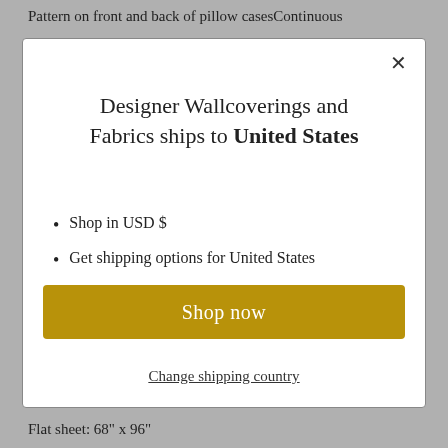Pattern on front and back of pillow casesContinuous
[Figure (screenshot): Modal dialog popup with close button (×), heading 'Designer Wallcoverings and Fabrics ships to United States', two bullet points listing 'Shop in USD $' and 'Get shipping options for United States', a gold 'Shop now' button, and a 'Change shipping country' link.]
Flat sheet: 68" x 96"